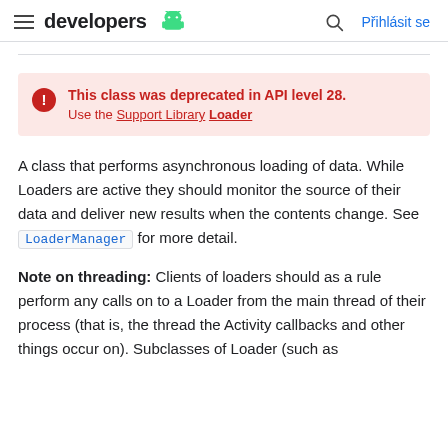developers [android logo] | [search] Přihlásit se
This class was deprecated in API level 28.
Use the Support Library Loader
A class that performs asynchronous loading of data. While Loaders are active they should monitor the source of their data and deliver new results when the contents change. See LoaderManager for more detail.
Note on threading: Clients of loaders should as a rule perform any calls on to a Loader from the main thread of their process (that is, the thread the Activity callbacks and other things occur on). Subclasses of Loader (such as